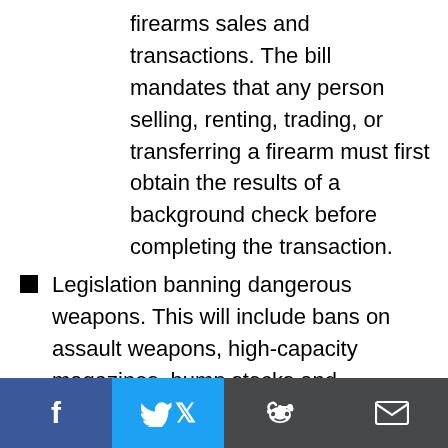firearms sales and transactions. The bill mandates that any person selling, renting, trading, or transferring a firearm must first obtain the results of a background check before completing the transaction.
Legislation banning dangerous weapons. This will include bans on assault weapons, high-capacity magazines, bump stocks and silencers.
Legislation to reinstate Virginia's successful law allowing only one handgun purchase within a 30-day period.
Legislation requiring that lost and stolen firearms be reported to law enforcement within 24 hours.
Legislation creating an Extreme Risk Protective [Order, allowing law enf]orcement and the courts [to temporarily prohibit] a person from firearms if